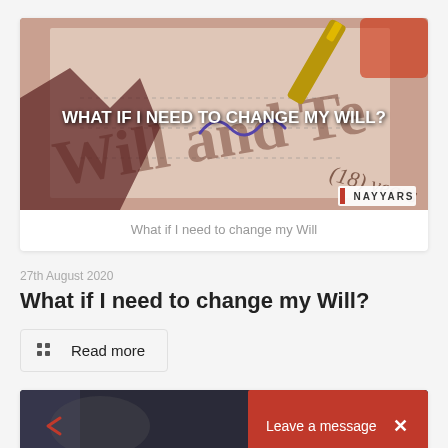[Figure (photo): Photo of a will document being signed with a fountain pen, overlaid with the text 'WHAT IF I NEED TO CHANGE MY WILL?' and a Nayyars logo in the corner.]
What if I need to change my Will
27th August 2020
What if I need to change my Will?
Read more
[Figure (photo): Partial photo at bottom of page showing a dark interior, partially obscured.]
Leave a message